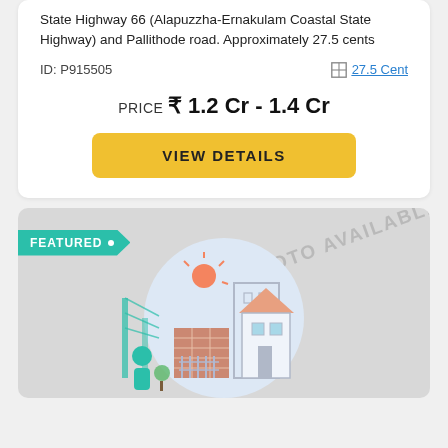State Highway 66 (Alapuzzha-Ernakulam Coastal State Highway) and Pallithode road. Approximately 27.5 cents
ID: P915505
27.5 Cent
PRICE ₹ 1.2 Cr - 1.4 Cr
VIEW DETAILS
[Figure (illustration): FEATURED badge with no photo available placeholder illustration showing buildings, house, person, and sun]